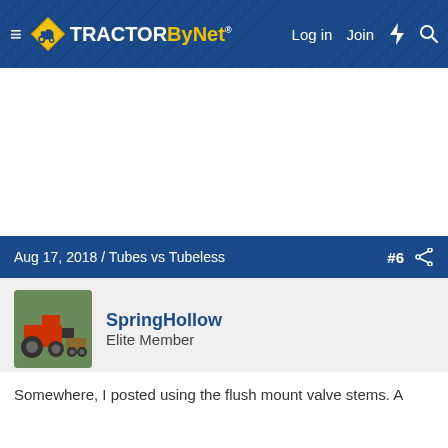TractorByNet — Log in  Join
[Figure (screenshot): White advertisement area]
Aug 17, 2018 / Tubes vs Tubeless  #6
SpringHollow
Elite Member
Somewhere, I posted using the flush mount valve stems. A